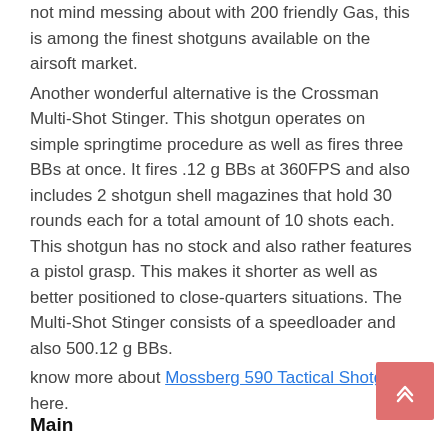not mind messing about with 200 friendly Gas, this is among the finest shotguns available on the airsoft market.
Another wonderful alternative is the Crossman Multi-Shot Stinger. This shotgun operates on simple springtime procedure as well as fires three BBs at once. It fires .12 g BBs at 360FPS and also includes 2 shotgun shell magazines that hold 30 rounds each for a total amount of 10 shots each. This shotgun has no stock and also rather features a pistol grasp. This makes it shorter as well as better positioned to close-quarters situations. The Multi-Shot Stinger consists of a speedloader and also 500.12 g BBs.
know more about Mossberg 590 Tactical Shotgun here.
Main